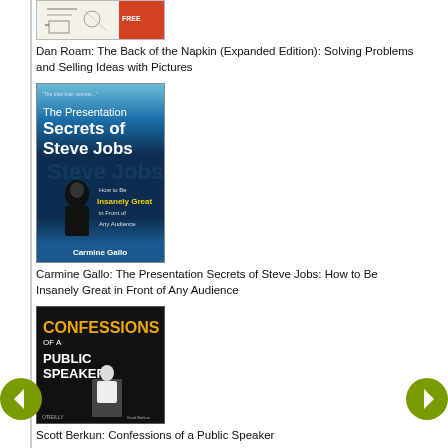[Figure (illustration): Book cover: The Back of the Napkin (Expanded Edition) by Dan Roam - partial view at top]
Dan Roam: The Back of the Napkin (Expanded Edition): Solving Problems and Selling Ideas with Pictures
[Figure (illustration): Book cover: The Presentation Secrets of Steve Jobs by Carmine Gallo - blue cover with author's silhouette]
Carmine Gallo: The Presentation Secrets of Steve Jobs: How to Be Insanely Great in Front of Any Audience
[Figure (illustration): Book cover: Confessions of a Public Speaker by Scott Berkun - O'Reilly book with man sitting at podium]
Scott Berkun: Confessions of a Public Speaker